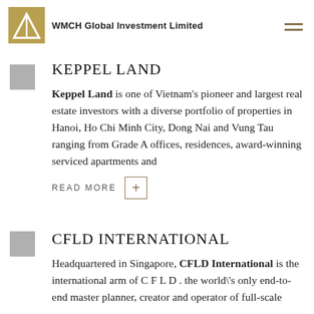WMCH Global Investment Limited
KEPPEL LAND
Keppel Land is one of Vietnam's pioneer and largest real estate investors with a diverse portfolio of properties in Hanoi, Ho Chi Minh City, Dong Nai and Vung Tau ranging from Grade A offices, residences, award-winning serviced apartments and
READ MORE
CFLD INTERNATIONAL
Headquartered in Singapore, CFLD International is the international arm of C F L D . the world\'s only end-to-end master planner, creator and operator of full-scale